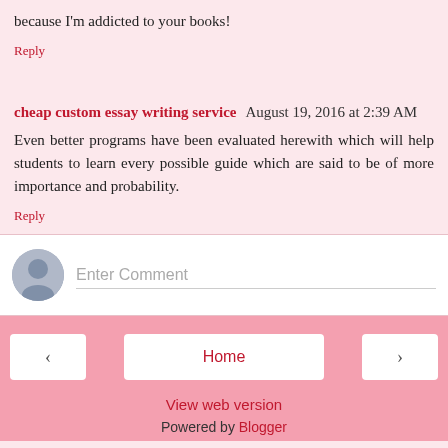because I'm addicted to your books!
Reply
cheap custom essay writing service  August 19, 2016 at 2:39 AM
Even better programs have been evaluated herewith which will help students to learn every possible guide which are said to be of more importance and probability.
Reply
Enter Comment
Home
View web version
Powered by Blogger